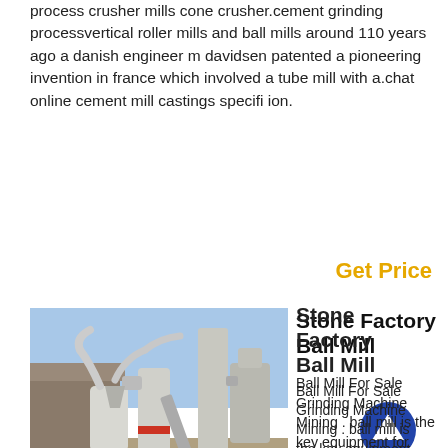process crusher mills cone crusher.cement grinding processvertical roller mills and ball mills around 110 years ago a danish engineer m davidsen patented a pioneering invention in france which involved a tube mill with a.chat online cement mill castings specifi ion.
Get Price
[Figure (photo): Photograph of an industrial ball mill / grinding machine installation outdoors, showing large cylindrical mill equipment with pipes, hoppers, and conveyor structures against a blue sky background.]
Stone Factory Ball Mill
Ball Mill For Sale Grinding Machine Mining . ball mill is the key equipment for grinding materials. those grinding mills are widely used in the mining process, and it has a wide range of usage in grinding mineral or material into fine powder, such as gold, ironzinc ore, copper, etc.. jxsc mining produce reliable effective ball mill for long life and minimum maintenance, incorporate many